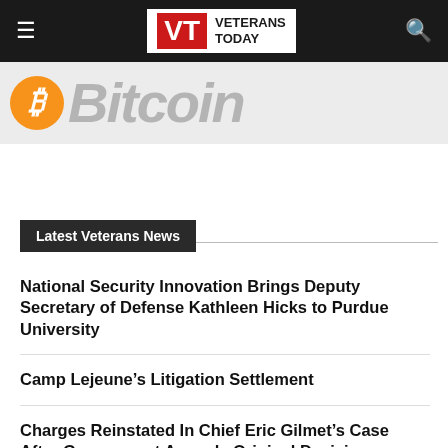Veterans Today
[Figure (logo): Bitcoin logo with orange circle and italic Bitcoin wordmark in gray]
Latest Veterans News
National Security Innovation Brings Deputy Secretary of Defense Kathleen Hicks to Purdue University
Camp Lejeune’s Litigation Settlement
Charges Reinstated In Chief Eric Gilmet’s Case After Government Appeals Original Decision
Leading the Charge in Game-Changing Treatment for Military Nerve Injuries